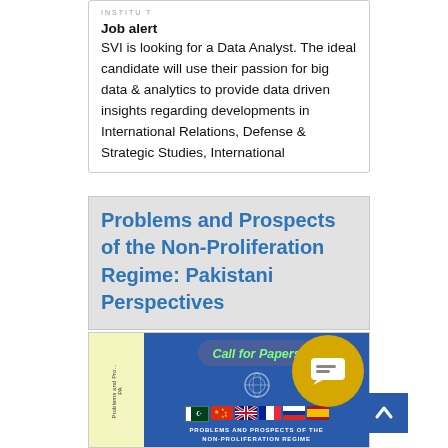Job alert
SVI is looking for a Data Analyst. The ideal candidate will use their passion for big data & analytics to provide data driven insights regarding developments in International Relations, Defense & Strategic Studies, International
Problems and Prospects of the Non-Proliferation Regime: Pakistani Perspectives
[Figure (photo): Book cover and call for papers image for 'Problems and Prospects of the Non-Proliferation Regime' with blue background, Call for Papers button in green italic text, flag icons, and book spine on yellow background. A gold circle chat button and blue scroll-to-top arrow button overlay the image.]